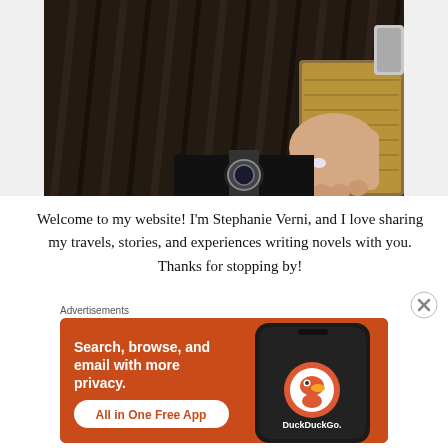[Figure (photo): Close-up photo of a person wearing a dark ribbed sweater, holding a gold/metallic clutch bag, wearing a ring and bracelet on their right hand.]
Welcome to my website! I'm Stephanie Verni, and I love sharing my travels, stories, and experiences writing novels with you. Thanks for stopping by!
Advertisements
[Figure (other): DuckDuckGo advertisement banner with orange background. Text reads: Search, browse, and email with more privacy. All in One Free App. Shows a phone with the DuckDuckGo logo.]